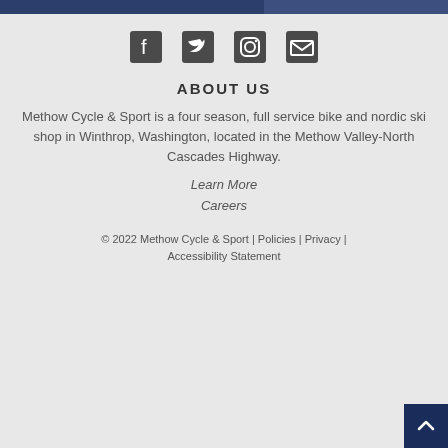[Figure (other): Top banner with dark navy blue color split into two sections]
[Figure (other): Social media icons row: Facebook, Twitter, Instagram, Email]
ABOUT US
Methow Cycle & Sport is a four season, full service bike and nordic ski shop in Winthrop, Washington, located in the Methow Valley-North Cascades Highway.
Learn More
Careers
© 2022 Methow Cycle & Sport | Policies | Privacy | Accessibility Statement